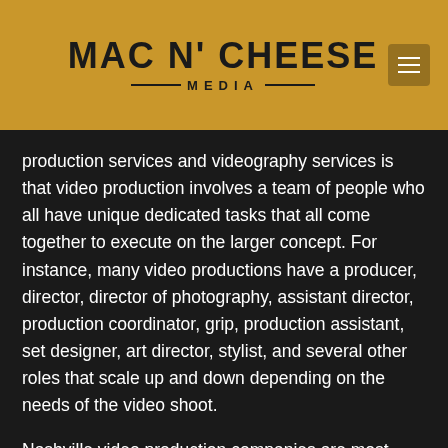[Figure (logo): Mac N' Cheese Media logo on golden/amber background with hamburger menu icon]
production services and videography services is that video production involves a team of people who all have unique dedicated tasks that all come together to execute on the larger concept. For instance, many video productions have a producer, director, director of photography, assistant director, production coordinator, grip, production assistant, set designer, art director, stylist, and several other roles that scale up and down depending on the needs of the video shoot.
Nashville video production companies are most known for creating engaging music videos for